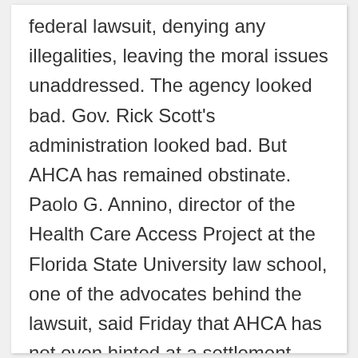federal lawsuit, denying any illegalities, leaving the moral issues unaddressed. The agency looked bad. Gov. Rick Scott’s administration looked bad. But AHCA has remained obstinate. Paolo G. Annino, director of the Health Care Access Project at the Florida State University law school, one of the advocates behind the lawsuit, said Friday that AHCA has not even hinted at a settlement. “I’m really finding this hard to understand,” he said.
Instead, the festering lawsuit caught the attention of the Justice Department.